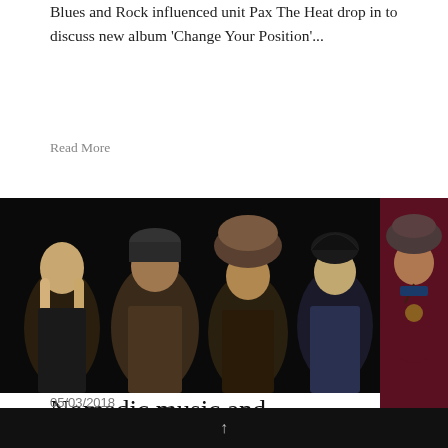Blues and Rock influenced unit Pax The Heat drop in to discuss new album 'Change Your Position'...
Read More
[Figure (photo): Band photo of Tengger Cavalry — five musicians in dark setting wearing traditional Mongolian fur hats and ethnic clothing against a black background]
Nomadic music and the convergence of style – Tengger Cavalry
05/03/2018
Something that convergence...